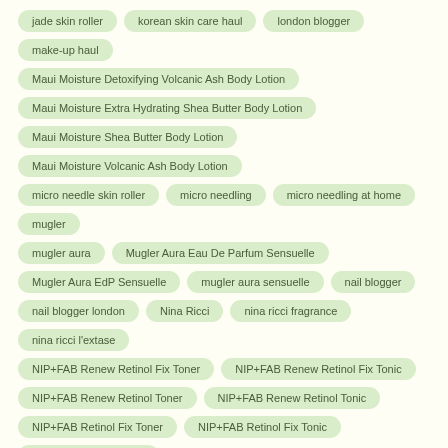jade skin roller
korean skin care haul
london blogger
make-up haul
Maui Moisture Detoxifying Volcanic Ash Body Lotion
Maui Moisture Extra Hydrating Shea Butter Body Lotion
Maui Moisture Shea Butter Body Lotion
Maui Moisture Volcanic Ash Body Lotion
micro needle skin roller
micro needling
micro needling at home
mugler
mugler aura
Mugler Aura Eau De Parfum Sensuelle
Mugler Aura EdP Sensuelle
mugler aura sensuelle
nail blogger
nail blogger london
Nina Ricci
nina ricci fragrance
nina ricci l'extase
NIP+FAB Renew Retinol Fix Toner
NIP+FAB Renew Retinol Fix Tonic
NIP+FAB Renew Retinol Toner
NIP+FAB Renew Retinol Tonic
NIP+FAB Retinol Fix Toner
NIP+FAB Retinol Fix Tonic
NIP+FAB Retinol Toner
NIP+FAB Retinol Tonic
parfume haul
Precision Beauty Jade Beauty Roller